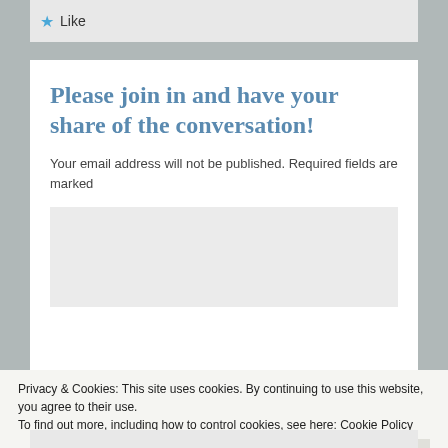[Figure (screenshot): Like button area with blue star icon and 'Like' text on gray background]
Please join in and have your share of the conversation!
Your email address will not be published. Required fields are marked
[Figure (screenshot): Empty gray textarea input box for comment]
Privacy & Cookies: This site uses cookies. By continuing to use this website, you agree to their use.
To find out more, including how to control cookies, see here: Cookie Policy
Close and accept